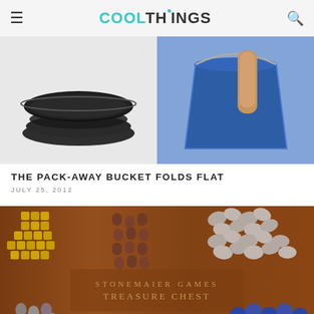COOLTHINGS
[Figure (photo): Two-panel product photo: left shows a black collapsible silicone bucket/bowl folded flat, right shows a blue collapsible bucket being held open by a hand]
THE PACK-AWAY BUCKET FOLDS FLAT
JULY 25, 2012
[Figure (photo): Stonemaier Games Treasure Chest box with various game resource tokens: gold cubes, brown wooden cylinders, silver irregular nuggets, grey teardrops, red cubes, blue glass gems]